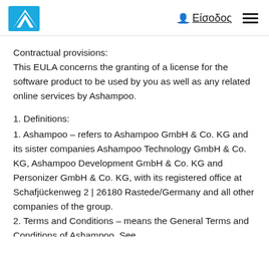Είσοδος
Contractual provisions:
This EULA concerns the granting of a license for the software product to be used by you as well as any related online services by Ashampoo.
1. Definitions:
1. Ashampoo – refers to Ashampoo GmbH & Co. KG and its sister companies Ashampoo Technology GmbH & Co. KG, Ashampoo Development GmbH & Co. KG and Personizer GmbH & Co. KG, with its registered office at Schafjückenweg 2 | 26180 Rastede/Germany and all other companies of the group.
2. Terms and Conditions – means the General Terms and Conditions of Ashampoo. See